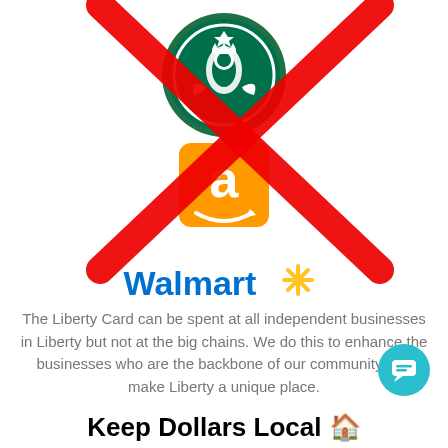[Figure (infographic): Starbucks and Amazon logos crossed out with a large red X, and Walmart logo below them — indicating the Liberty Card cannot be spent at these big chain stores]
The Liberty Card can be spent at all independent businesses in Liberty but not at the big chains. We do this to enhance the businesses who are the backbone of our community and make Liberty a unique place.
Keep Dollars Local 🏠